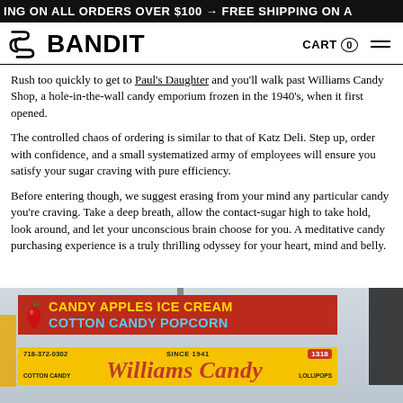ING ON ALL ORDERS OVER $100 → FREE SHIPPING ON A
[Figure (logo): Bandit brand logo with stylized 'S/B' icon and BANDIT wordmark, with CART 0 and hamburger menu on the right]
Rush too quickly to get to Paul's Daughter and you'll walk past Williams Candy Shop, a hole-in-the-wall candy emporium frozen in the 1940's, when it first opened.
The controlled chaos of ordering is similar to that of Katz Deli. Step up, order with confidence, and a small systematized army of employees will ensure you satisfy your sugar craving with pure efficiency.
Before entering though, we suggest erasing from your mind any particular candy you're craving. Take a deep breath, allow the contact-sugar high to take hold, look around, and let your unconscious brain choose for you. A meditative candy purchasing experience is a truly thrilling odyssey for your heart, mind and belly.
[Figure (photo): Storefront photo of Williams Candy shop sign showing CANDY APPLES ICE CREAM COTTON CANDY POPCORN in red and blue on red background, and yellow Williams Candy sign below with phone number 718-372-0302, SINCE 1941, number 1318, COTTON CANDY and LOLLIPOPS labels]